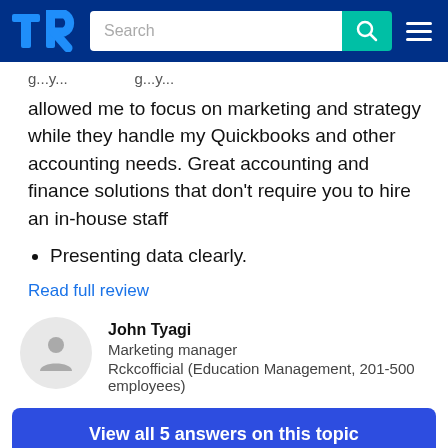TrustRadius header with logo, search bar, and menu
g...y...g...y... allowed me to focus on marketing and strategy while they handle my Quickbooks and other accounting needs. Great accounting and finance solutions that don't require you to hire an in-house staff
Presenting data clearly.
Read full review
John Tyagi
Marketing manager
Rckcofficial (Education Management, 201-500 employees)
View all 5 answers on this topic